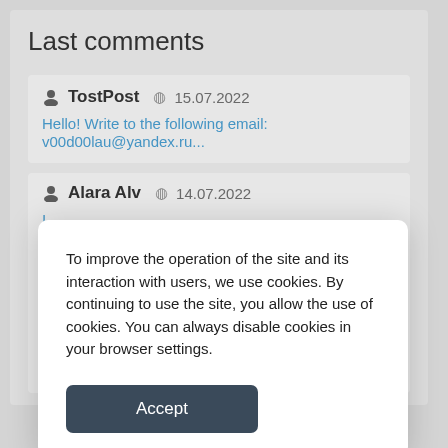Last comments
TostPost  15.07.2022
Hello! Write to the following email: v00d00lau@yandex.ru...
Alara Alv  14.07.2022
To improve the operation of the site and its interaction with users, we use cookies. By continuing to use the site, you allow the use of cookies. You can always disable cookies in your browser settings.
Accept